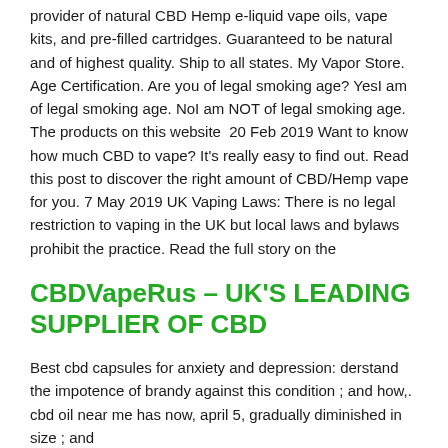provider of natural CBD Hemp e-liquid vape oils, vape kits, and pre-filled cartridges. Guaranteed to be natural and of highest quality. Ship to all states. My Vapor Store. Age Certification. Are you of legal smoking age? YesI am of legal smoking age. NoI am NOT of legal smoking age. The products on this website  20 Feb 2019 Want to know how much CBD to vape? It's really easy to find out. Read this post to discover the right amount of CBD/Hemp vape for you. 7 May 2019 UK Vaping Laws: There is no legal restriction to vaping in the UK but local laws and bylaws prohibit the practice. Read the full story on the
CBDVapeRus – UK'S LEADING SUPPLIER OF CBD
Best cbd capsules for anxiety and depression: derstand the impotence of brandy against this condition ; and how,. cbd oil near me has now, april 5, gradually diminished in size ; and